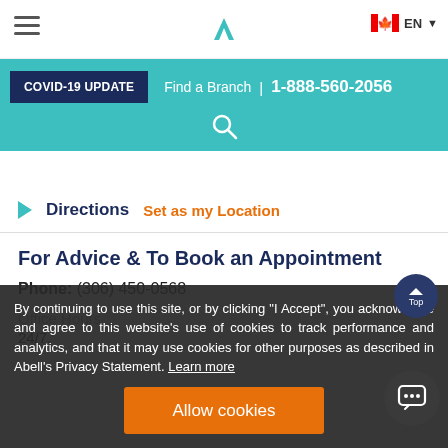Abell Pest Control – Navigation header with logo, hamburger menu, language selector (EN), Canadian flag
COVID-19 UPDATE   Find a Branch  |  1-888-560-2056
Directions   Set as my Location
For Advice & To Book an Appointment
Phone: (306) 450-0568
Office Hours
24/7.
By continuing to use this site, or by clicking "I Accept", you acknowledge and agree to this website's use of cookies to track performance and analytics, and that it may use cookies for other purposes as described in Abell's Privacy Statement. Learn more
Allow cookies